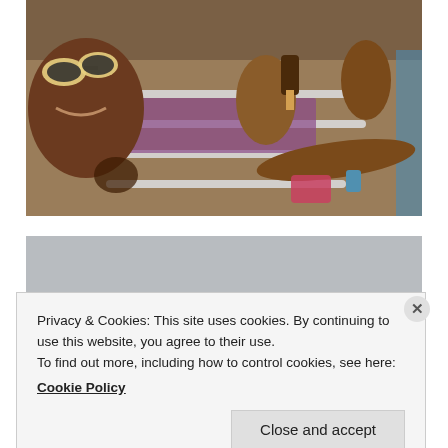[Figure (photo): Women in swimsuits lounging on pool chairs eating chocolate ice cream bars. One woman in foreground has sunglasses, purple bikini, and holds an ice cream bar. Others are visible on lounge chairs in background near a pool.]
[Figure (photo): Partially visible second photo below the first, showing a light grey/blue background with a dark horizontal bar visible, largely obscured by the cookie consent banner.]
Privacy & Cookies: This site uses cookies. By continuing to use this website, you agree to their use.
To find out more, including how to control cookies, see here:
Cookie Policy
Close and accept